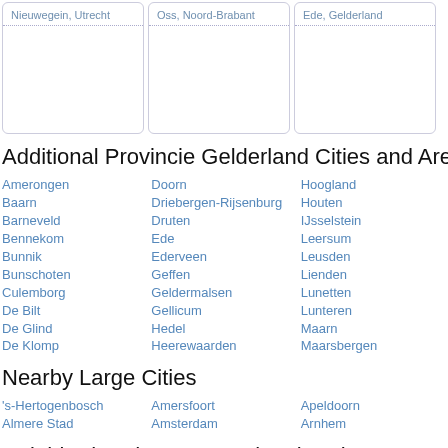Nieuwegein, Utrecht
Oss, Noord-Brabant
Ede, Gelderland
Additional Provincie Gelderland Cities and Areas: M
Amerongen
Baarn
Barneveld
Bennekom
Bunnik
Bunschoten
Culemborg
De Bilt
De Glind
De Klomp
Doorn
Driebergen-Rijsenburg
Druten
Ede
Ederveen
Geffen
Geldermalsen
Gellicum
Hedel
Heerewaarden
Hoogland
Houten
IJsselstein
Leersum
Leusden
Lienden
Lunetten
Lunteren
Maarn
Maarsbergen
Nearby Large Cities
's-Hertogenbosch
Almere Stad
Amersfoort
Amsterdam
Apeldoorn
Arnhem
Neighborhoods near Overlangbroek
Asch
Panneklos
De Woerd
Den Gard
Ganzert
Goorstein